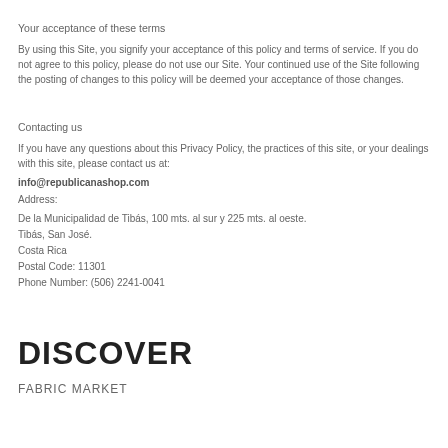Your acceptance of these terms
By using this Site, you signify your acceptance of this policy and terms of service. If you do not agree to this policy, please do not use our Site. Your continued use of the Site following the posting of changes to this policy will be deemed your acceptance of those changes.
Contacting us
If you have any questions about this Privacy Policy, the practices of this site, or your dealings with this site, please contact us at:
info@republicanashop.com
Address:
De la Municipalidad de Tibás, 100 mts. al sur y 225 mts. al oeste.
Tibás, San José.
Costa Rica
Postal Code: 11301
Phone Number: (506) 2241-0041
DISCOVER
FABRIC MARKET